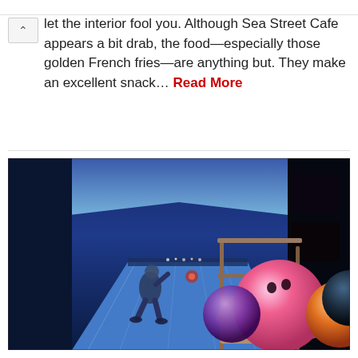let the interior fool you. Although Sea Street Cafe appears a bit drab, the food—especially those golden French fries—are anything but. They make an excellent snack... Read More
[Figure (photo): Interior of a bowling alley with blue/purple neon lighting. In the foreground, colorful bowling balls (pink, orange, dark) sit on a ball return rack. In the background, a person is seen mid-throw on a lane, with bowling pins at the far end.]